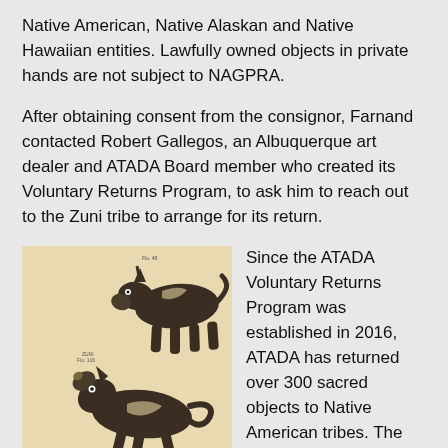Native American, Native Alaskan and Native Hawaiian entities. Lawfully owned objects in private hands are not subject to NAGPRA.
After obtaining consent from the consignor, Farnand contacted Robert Gallegos, an Albuquerque art dealer and ATADA Board member who created its Voluntary Returns Program, to ask him to reach out to the Zuni tribe to arrange for its return.
[Figure (photo): Illustration of two dark animal figurines (resembling deer or similar animals) on a tan/cream background. The figures appear to be Native American ceramic or stone animal fetishes. Small text labels are visible near each figure.]
Since the ATADA Voluntary Returns Program was established in 2016, ATADA has returned over 300 sacred objects to Native American tribes. The group has also brought a number of sacred items back to indigenous peoples outside of the U.S.